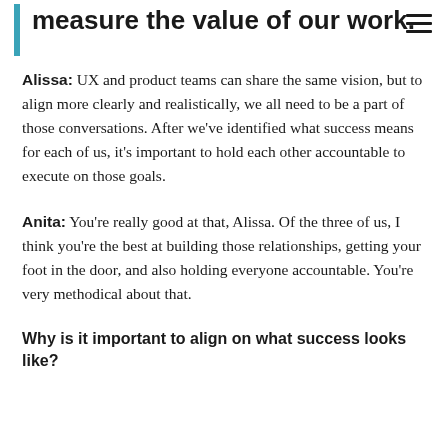measure the value of our work.
Alissa: UX and product teams can share the same vision, but to align more clearly and realistically, we all need to be a part of those conversations. After we've identified what success means for each of us, it's important to hold each other accountable to execute on those goals.
Anita: You're really good at that, Alissa. Of the three of us, I think you're the best at building those relationships, getting your foot in the door, and also holding everyone accountable. You're very methodical about that.
Why is it important to align on what success looks like?